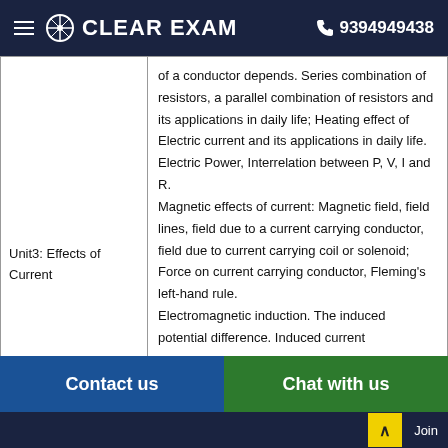CLEAR EXAM  9394949438
| Unit | Content |
| --- | --- |
| Unit3: Effects of Current | of a conductor depends. Series combination of resistors, a parallel combination of resistors and its applications in daily life; Heating effect of Electric current and its applications in daily life.
Electric Power, Interrelation between P, V, I and R.
Magnetic effects of current: Magnetic field, field lines, field due to a current carrying conductor, field due to current carrying coil or solenoid; Force on current carrying conductor, Fleming's left-hand rule.
Electromagnetic induction. The induced potential difference. Induced current |
Contact us   Chat with us   Join...